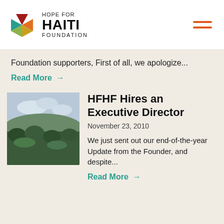[Figure (logo): Hope for Haiti Foundation logo with colorful star and text]
Foundation supporters, First of all, we apologize...
Read More →
[Figure (photo): Landscape photo of green hills and tropical scenery in Haiti with cloudy sky]
HFHF Hires an Executive Director
November 23, 2010
We just sent out our end-of-the-year Update from the Founder, and despite...
Read More →